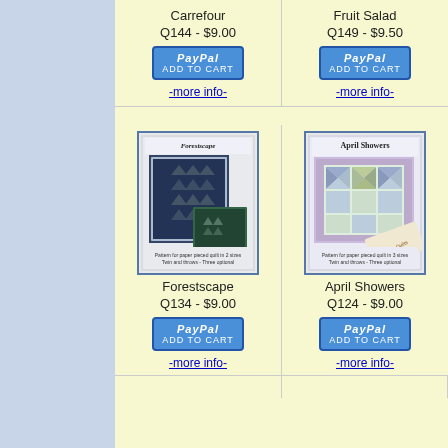Carrefour
Q144 - $9.00
[Figure (other): PayPal Add to Cart button for Carrefour]
-more info-
Fruit Salad
Q149 - $9.50
[Figure (other): PayPal Add to Cart button for Fruit Salad]
-more info-
[Figure (photo): Forestscape quilt pattern cover image showing tree/chevron quilt design]
Forestscape
Q134  -  $9.00
[Figure (other): PayPal Add to Cart button for Forestscape]
-more info-
[Figure (photo): April Showers quilt pattern cover image showing floral/pinwheel quilt design]
April Showers
Q124 - $9.00
[Figure (other): PayPal Add to Cart button for April Showers]
-more info-